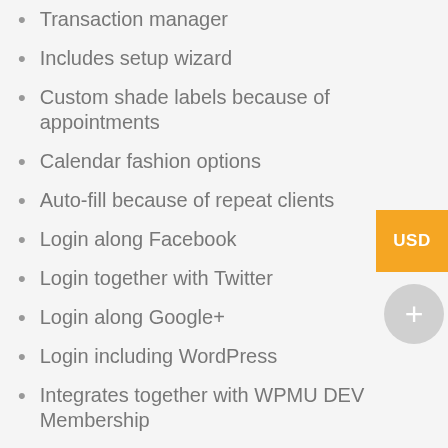Transaction manager
Includes setup wizard
Custom shade labels because of appointments
Calendar fashion options
Auto-fill because of repeat clients
Login along Facebook
Login together with Twitter
Login along Google+
Login including WordPress
Integrates together with WPMU DEV Membership
Integrates together with MarketPress gateways
Require fee or deposits
Fixed and proportion deposit
Google Calendar sync
Appointment reminders